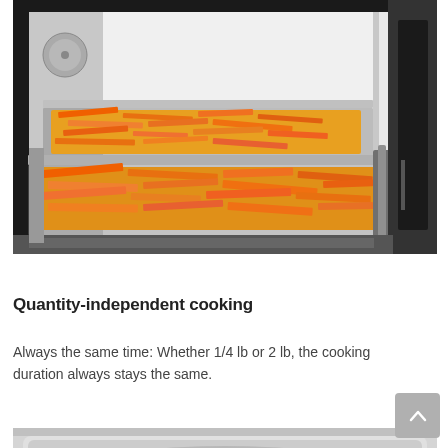[Figure (photo): Open commercial oven with two stainless steel trays loaded with sliced orange carrots or vegetables, interior lit brightly, oven door open to the right]
Quantity-independent cooking
Always the same time: Whether 1/4 lb or 2 lb, the cooking duration always stays the same.
[Figure (photo): Bottom portion of another oven or appliance, partially cropped]